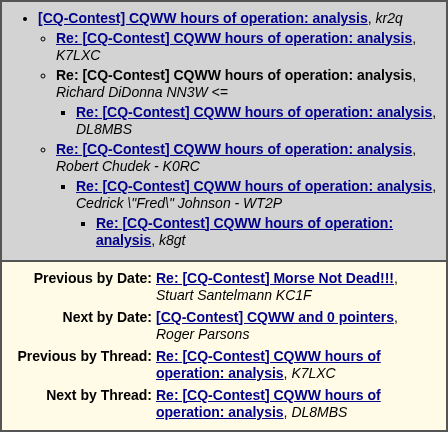[CQ-Contest] CQWW hours of operation: analysis, kr2q
Re: [CQ-Contest] CQWW hours of operation: analysis, K7LXC
Re: [CQ-Contest] CQWW hours of operation: analysis, Richard DiDonna NN3W <=
Re: [CQ-Contest] CQWW hours of operation: analysis, DL8MBS
Re: [CQ-Contest] CQWW hours of operation: analysis, Robert Chudek - K0RC
Re: [CQ-Contest] CQWW hours of operation: analysis, Cedrick "Fred" Johnson - WT2P
Re: [CQ-Contest] CQWW hours of operation: analysis, k8gt
| Label | Link | Author |
| --- | --- | --- |
| Previous by Date: | Re: [CQ-Contest] Morse Not Dead!!! | Stuart Santelmann KC1F |
| Next by Date: | [CQ-Contest] CQWW and 0 pointers | Roger Parsons |
| Previous by Thread: | Re: [CQ-Contest] CQWW hours of operation: analysis | K7LXC |
| Next by Thread: | Re: [CQ-Contest] CQWW hours of operation: analysis | DL8MBS |